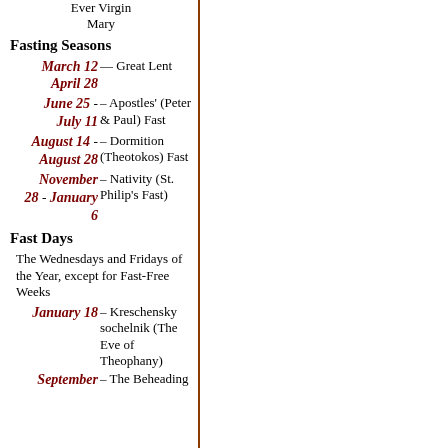Ever Virgin Mary
Fasting Seasons
March 12 – April 28 — Great Lent
June 25 – July 11 – Apostles' (Peter & Paul) Fast
August 14 - August 28 – Dormition (Theotokos) Fast
November 28 - January 6 – Nativity (St. Philip's Fast)
Fast Days
The Wednesdays and Fridays of the Year, except for Fast-Free Weeks
January 18 – Kreschensky sochelnik (The Eve of Theophany)
September – The Beheading